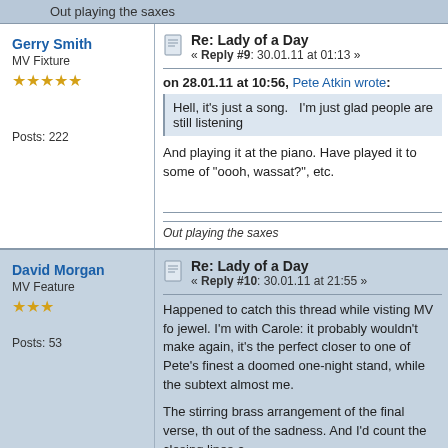Out playing the saxes
Gerry Smith
MV Fixture
★★★★★
Posts: 222
Re: Lady of a Day
« Reply #9: 30.01.11 at 01:13 »
on 28.01.11 at 10:56, Pete Atkin wrote:
Hell, it's just a song.   I'm just glad people are still listening
And playing it at the piano. Have played it to some of "oooh, wassat?", etc.
Out playing the saxes
David Morgan
MV Feature
★★★
Posts: 53
Re: Lady of a Day
« Reply #10: 30.01.11 at 21:55 »
Happened to catch this thread while visting MV fo jewel. I'm with Carole: it probably wouldn't make again, it's the perfect closer to one of Pete's finest a doomed one-night stand, while the subtext almost me.
The stirring brass arrangement of the final verse, th out of the sadness. And I'd count the closing lines a